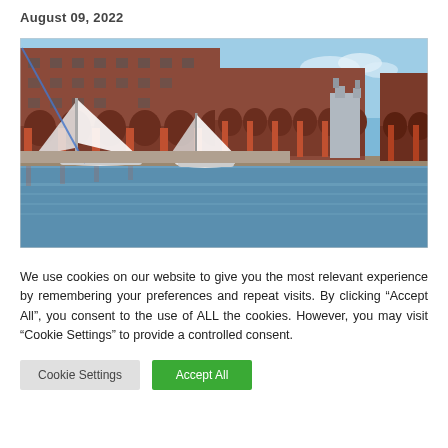August 09, 2022
[Figure (photo): Photograph of Albert Dock, Liverpool, showing red brick warehouses with arched colonnades along a waterfront, sailboats moored in the foreground, and the Liver Building visible in the background under a clear blue sky.]
We use cookies on our website to give you the most relevant experience by remembering your preferences and repeat visits. By clicking “Accept All”, you consent to the use of ALL the cookies. However, you may visit “Cookie Settings” to provide a controlled consent.
Cookie Settings | Accept All